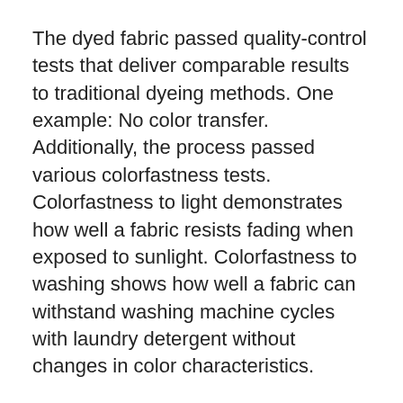The dyed fabric passed quality-control tests that deliver comparable results to traditional dyeing methods. One example: No color transfer. Additionally, the process passed various colorfastness tests. Colorfastness to light demonstrates how well a fabric resists fading when exposed to sunlight. Colorfastness to washing shows how well a fabric can withstand washing machine cycles with laundry detergent without changes in color characteristics.
Following completion of his Ph.D. studies, one of the students, Shahriar Salim began his new role as a textile engineer with JB Martin Company. A little more than a month before, he successfully defended his Ph.D. dissertation in fiber and polymer science. He